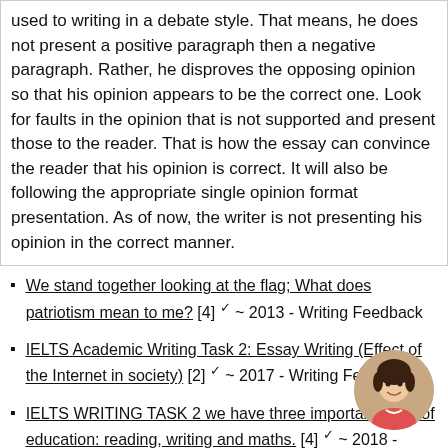used to writing in a debate style. That means, he does not present a positive paragraph then a negative paragraph. Rather, he disproves the opposing opinion so that his opinion appears to be the correct one. Look for faults in the opinion that is not supported and present those to the reader. That is how the essay can convince the reader that his opinion is correct. It will also be following the appropriate single opinion format presentation. As of now, the writer is not presenting his opinion in the correct manner.
We stand together looking at the flag; What does patriotism mean to me? [4] ✓ ~ 2013 - Writing Feedback
IELTS Academic Writing Task 2: Essay Writing (Effect of the Internet in society) [2] ✓ ~ 2017 - Writing Feedback
IELTS WRITING TASK 2 we have three important parts of education: reading, writing and maths. [4] ✓ ~ 2018 - Writing Feedback